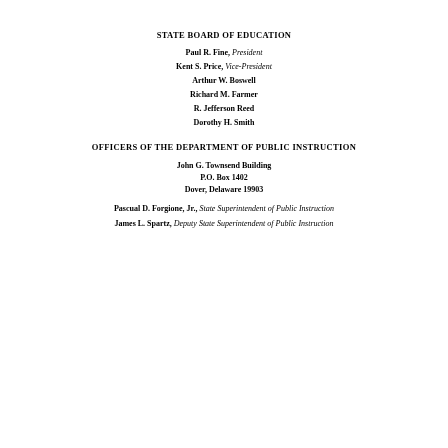STATE BOARD OF EDUCATION
Paul R. Fine, President
Kent S. Price, Vice-President
Arthur W. Boswell
Richard M. Farmer
R. Jefferson Reed
Dorothy H. Smith
OFFICERS OF THE DEPARTMENT OF PUBLIC INSTRUCTION
John G. Townsend Building
P.O. Box 1402
Dover, Delaware 19903
Pascual D. Forgione, Jr., State Superintendent of Public Instruction
James L. Spartz, Deputy State Superintendent of Public Instruction